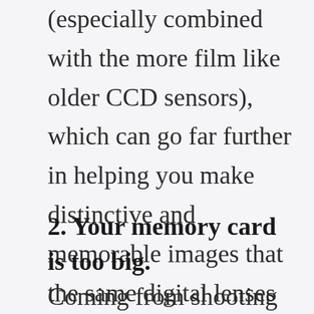(especially combined with the more film like older CCD sensors), which can go far further in helping you make distinctive and memorable images that the same digital lenses everyone else uses.
2. Your memory card is too big.
Coming from shooting film,